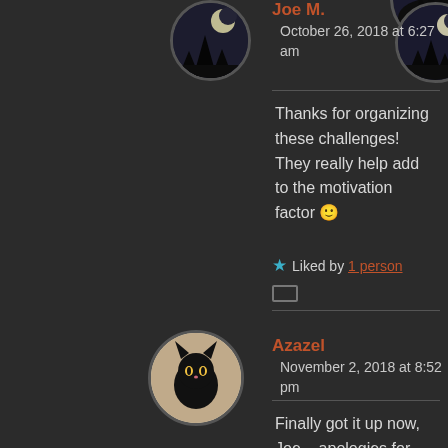[Figure (photo): Avatar photo of Joe M. showing a moonlit night sky with trees, circular cropped profile picture]
Joe M.
October 26, 2018 at 6:27 am
Thanks for organizing these challenges! They really help add to the motivation factor 🙂
★ Liked by 1 person
[Figure (photo): Avatar photo of Azazel showing a black cat, circular cropped profile picture with beige/cream background]
Azazel
November 2, 2018 at 8:52 pm
Finally got it up now, Joe – apologies for the delays. I've been struggling to catch up